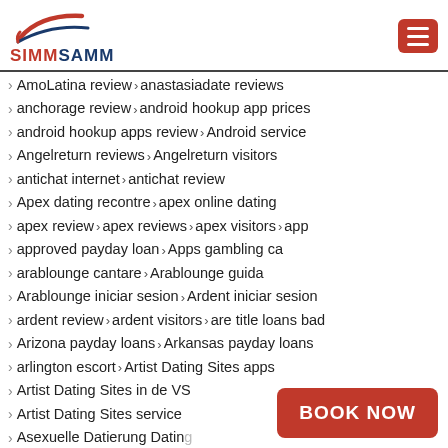SIMMSAMM
AmoLatina review > anastasiadate reviews
anchorage review > android hookup app prices
android hookup apps review > Android service
Angelreturn reviews > Angelreturn visitors
antichat internet > antichat review
Apex dating recontre > apex online dating
apex review > apex reviews > apex visitors > app
approved payday loan > Apps gambling ca
arablounge cantare > Arablounge guida
Arablounge iniciar sesion > Ardent iniciar sesion
ardent review > ardent visitors > are title loans bad
Arizona payday loans > Arkansas payday loans
arlington escort > Artist Dating Sites apps
Artist Dating Sites in de VS
Artist Dating Sites service
Asexuelle Datierung Dating